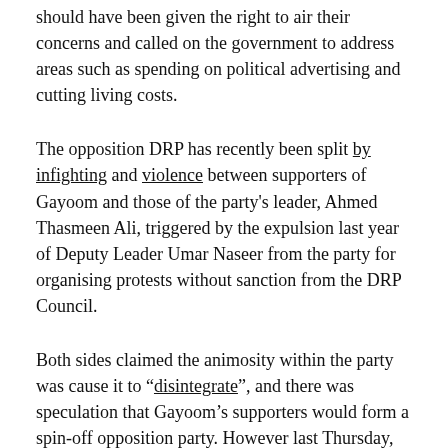should have been given the right to air their concerns and called on the government to address areas such as spending on political advertising and cutting living costs.
The opposition DRP has recently been split by infighting and violence between supporters of Gayoom and those of the party's leader, Ahmed Thasmeen Ali, triggered by the expulsion last year of Deputy Leader Umar Naseer from the party for organising protests without sanction from the DRP Council.
Both sides claimed the animosity within the party was cause it to “disintegrate”, and there was speculation that Gayoom’s supporters would form a spin-off opposition party. However last Thursday, two days before the protest, Gayoom’s faction officially announced that it was “commencing work”